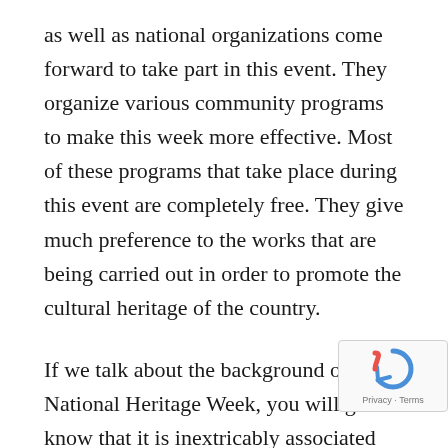as well as national organizations come forward to take part in this event. They organize various community programs to make this week more effective. Most of these programs that take place during this event are completely free. They give much preference to the works that are being carried out in order to promote the cultural heritage of the country.
If we talk about the background of National Heritage Week, you will get to know that it is inextricably associated with European Heritage. The foremost or main objective to observe this weekly event is to promote and highlight the awareness of the cultural and natural heritage. During this week, people across